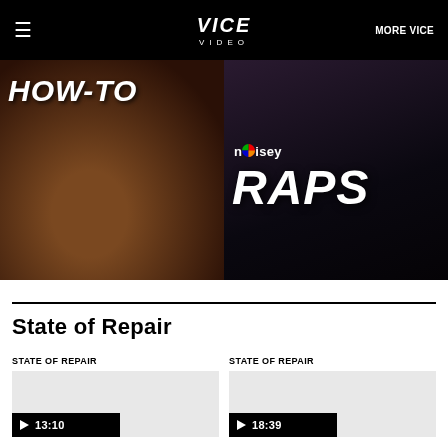≡  VICE VIDEO  MORE VICE
[Figure (screenshot): Two video thumbnails side by side: left shows a 'HOW-TO' cooking video with meat imagery; right shows 'noisey RAPS' music video branding with colorful imagery]
State of Repair
STATE OF REPAIR
[Figure (screenshot): Video thumbnail placeholder (gray) with black play bar showing duration 13:10]
STATE OF REPAIR
[Figure (screenshot): Video thumbnail placeholder (gray) with black play bar showing duration 18:39]